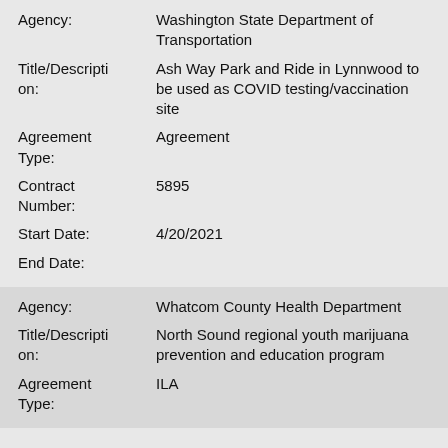Agency: Washington State Department of Transportation
Title/Description: Ash Way Park and Ride in Lynnwood to be used as COVID testing/vaccination site
Agreement Type: Agreement
Contract Number: 5895
Start Date: 4/20/2021
End Date:
Agency: Whatcom County Health Department
Title/Description: North Sound regional youth marijuana prevention and education program
Agreement Type: ILA